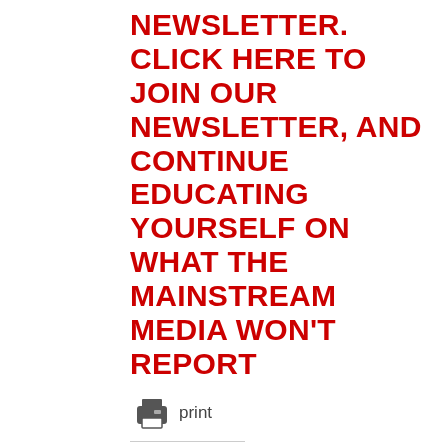NEWSLETTER. CLICK HERE TO JOIN OUR NEWSLETTER, AND CONTINUE EDUCATING YOURSELF ON WHAT THE MAINSTREAM MEDIA WON'T REPORT
[Figure (other): Printer icon with 'print' label]
Share This:
[Figure (other): Social sharing buttons: Facebook, Twitter, Reddit, LinkedIn, Print, More]
CLICK HERE TO DONATE NOW